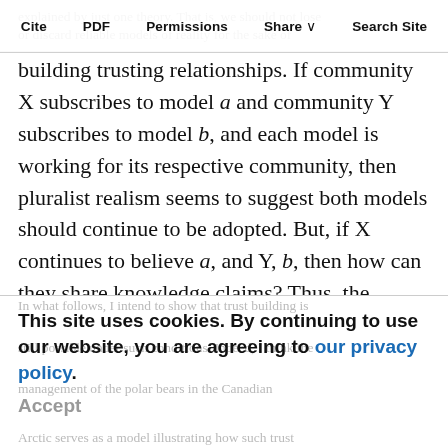Cite  PDF  Permissions  Share  Search Site
building trusting relationships. If community X subscribes to model a and community Y subscribes to model b, and each model is working for its respective community, then pluralist realism seems to suggest both models should continue to be adopted. But, if X continues to believe a, and Y, b, then how can they share knowledge claims? Thus, the adoption of pluralist realism as a conceptual possibility seems to complicate or impede our ability to build trust through knowledge sharing in inter-community settings.
This site uses cookies. By continuing to use our website, you are agreeing to our privacy policy.
Accept